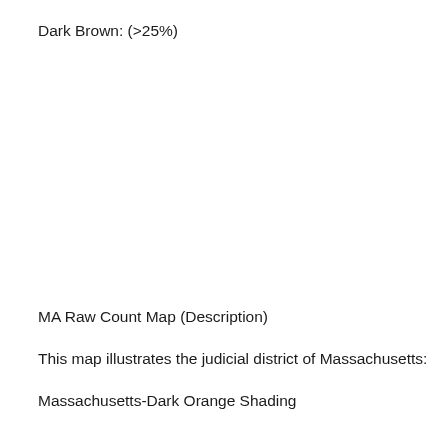Dark Brown: (>25%)
MA Raw Count Map (Description)
This map illustrates the judicial district of Massachusetts:
Massachusetts-Dark Orange Shading